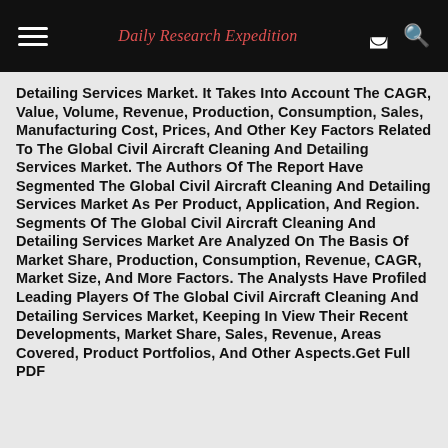Daily Research Expedition
Detailing Services Market. It Takes Into Account The CAGR, Value, Volume, Revenue, Production, Consumption, Sales, Manufacturing Cost, Prices, And Other Key Factors Related To The Global Civil Aircraft Cleaning And Detailing Services Market. The Authors Of The Report Have Segmented The Global Civil Aircraft Cleaning And Detailing Services Market As Per Product, Application, And Region. Segments Of The Global Civil Aircraft Cleaning And Detailing Services Market Are Analyzed On The Basis Of Market Share, Production, Consumption, Revenue, CAGR, Market Size, And More Factors. The Analysts Have Profiled Leading Players Of The Global Civil Aircraft Cleaning And Detailing Services Market, Keeping In View Their Recent Developments, Market Share, Sales, Revenue, Areas Covered, Product Portfolios, And Other Aspects.Get Full PDF